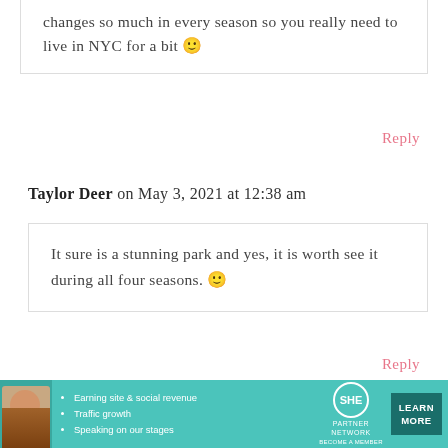changes so much in every season so you really need to live in NYC for a bit 🙂
Reply
Taylor Deer on May 3, 2021 at 12:38 am
It sure is a stunning park and yes, it is worth see it during all four seasons. 🙂
Reply
Jamie Sharpe on May 2, 2021 at 4:04 pm
[Figure (infographic): SHE Partner Network advertisement banner with photo of woman, bullet points: Earning site & social revenue, Traffic growth, Speaking on our stages. Teal background with LEARN MORE button.]